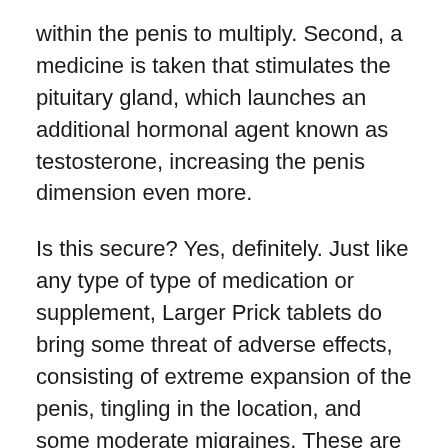within the penis to multiply. Second, a medicine is taken that stimulates the pituitary gland, which launches an additional hormonal agent known as testosterone, increasing the penis dimension even more.
Is this secure? Yes, definitely. Just like any type of type of medication or supplement, Larger Prick tablets do bring some threat of adverse effects, consisting of extreme expansion of the penis, tingling in the location, and some moderate migraines. These are reasonably mild and are quickly fixed with Tylenol or Advil. Additionally, individuals are highly advised to look for medical guidance before attempting to make use of a penis enhancement tablet.